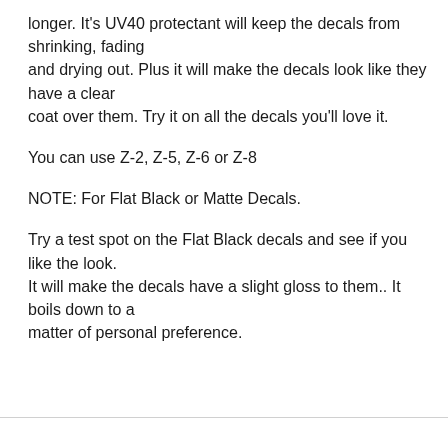longer. It's UV40 protectant will keep the decals from shrinking, fading and drying out. Plus it will make the decals look like they have a clear coat over them. Try it on all the decals you'll love it.
You can use Z-2, Z-5, Z-6 or Z-8
NOTE: For Flat Black or Matte Decals.
Try a test spot on the Flat Black decals and see if you like the look. It will make the decals have a slight gloss to them.. It boils down to a matter of personal preference.